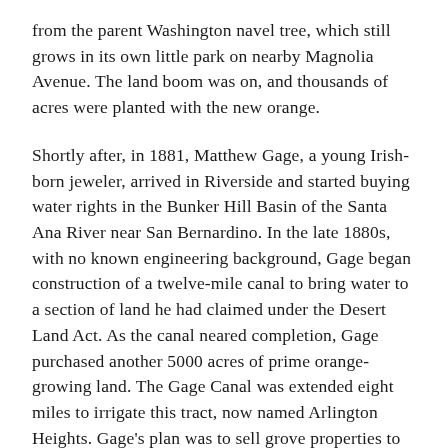from the parent Washington navel tree, which still grows in its own little park on nearby Magnolia Avenue. The land boom was on, and thousands of acres were planted with the new orange.
Shortly after, in 1881, Matthew Gage, a young Irish-born jeweler, arrived in Riverside and started buying water rights in the Bunker Hill Basin of the Santa Ana River near San Bernardino. In the late 1880s, with no known engineering background, Gage began construction of a twelve-mile canal to bring water to a section of land he had claimed under the Desert Land Act. As the canal neared completion, Gage purchased another 5000 acres of prime orange-growing land. The Gage Canal was extended eight miles to irrigate this tract, now named Arlington Heights. Gage's plan was to sell grove properties to recoup his costs.